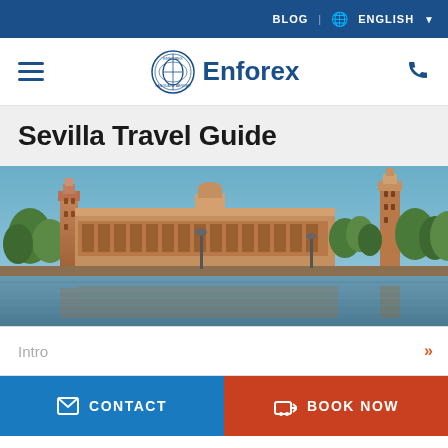BLOG  🌐 ENGLISH ▾
[Figure (logo): Enforex language school logo with circular seal and blue text]
Sevilla Travel Guide
[Figure (photo): Panoramic photo of Plaza de España in Sevilla, Spain, with ornate brick buildings reflected in a canal under a clear blue sky]
Intro
CONTACT
BOOK NOW